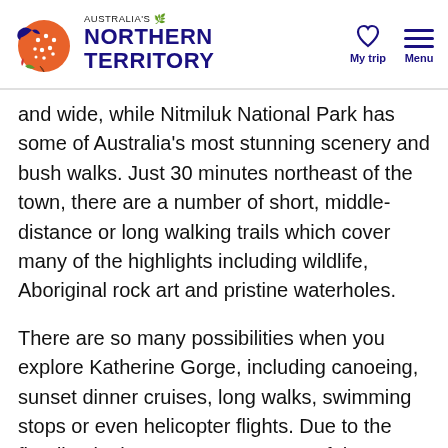Australia's Northern Territory — My trip | Menu
and wide, while Nitmiluk National Park has some of Australia's most stunning scenery and bush walks. Just 30 minutes northeast of the town, there are a number of short, middle-distance or long walking trails which cover many of the highlights including wildlife, Aboriginal rock art and pristine waterholes.
There are so many possibilities when you explore Katherine Gorge, including canoeing, sunset dinner cruises, long walks, swimming stops or even helicopter flights. Due to the flooding in the wet season, some of these may not be available year-round, so check with your tour or accommodation provider about what's on offer.